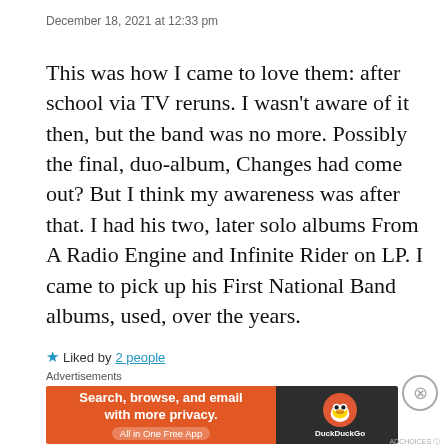December 18, 2021 at 12:33 pm
This was how I came to love them: after school via TV reruns. I wasn’t aware of it then, but the band was no more. Possibly the final, duo-album, Changes had come out? But I think my awareness was after that. I had his two, later solo albums From A Radio Engine and Infinite Rider on LP. I came to pick up his First National Band albums, used, over the years.
★ Liked by 2 people
Advertisements
[Figure (other): DuckDuckGo advertisement banner: orange background with text 'Search, browse, and email with more privacy. All in One Free App' alongside DuckDuckGo duck logo on dark background]